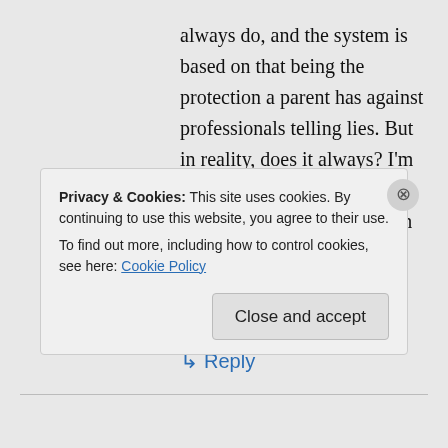always do, and the system is based on that being the protection a parent has against professionals telling lies. But in reality, does it always? I'm afraid probably not. Mostly it does, but even a tiny fraction of cases where the truth doesn't come out, such as yours are tragedies.
↳ Reply
Privacy & Cookies: This site uses cookies. By continuing to use this website, you agree to their use.
To find out more, including how to control cookies, see here: Cookie Policy
Close and accept